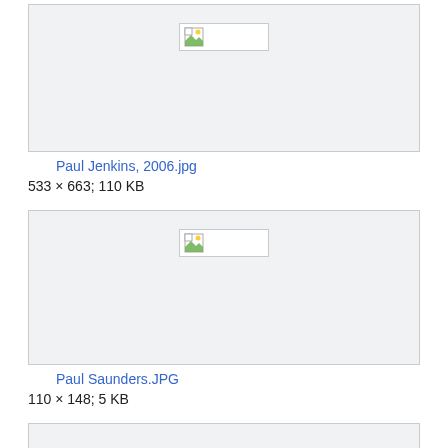[Figure (screenshot): Broken image placeholder for Paul Jenkins 2006.jpg thumbnail in a light gray box with border]
Paul Jenkins, 2006.jpg
533 × 663; 110 KB
[Figure (screenshot): Broken image placeholder for Paul Saunders.JPG thumbnail in a light gray box with border]
Paul Saunders.JPG
110 × 148; 5 KB